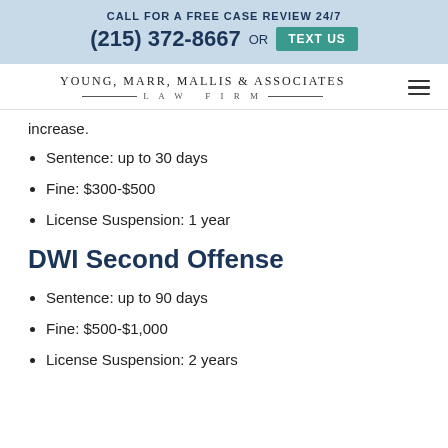CALL FOR A FREE CASE REVIEW 24/7 (215) 372-8667 OR TEXT US
[Figure (logo): Young, Marr, Mallis & Associates Law Firm logo with hamburger menu icon]
increase.
Sentence: up to 30 days
Fine: $300-$500
License Suspension: 1 year
DWI Second Offense
Sentence: up to 90 days
Fine: $500-$1,000
License Suspension: 2 years